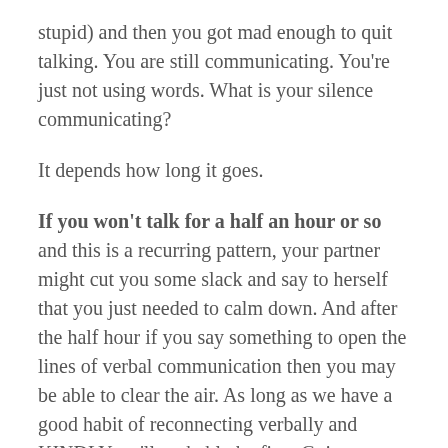stupid) and then you got mad enough to quit talking. You are still communicating. You're just not using words. What is your silence communicating?
It depends how long it goes.
If you won't talk for a half an hour or so and this is a recurring pattern, your partner might cut you some slack and say to herself that you just needed to calm down. And after the half hour if you say something to open the lines of verbal communication then you may be able to clear the air. As long as we have a good habit of reconnecting verbally and KINDLY we'll probably be fine. Going forward, though, it'd be